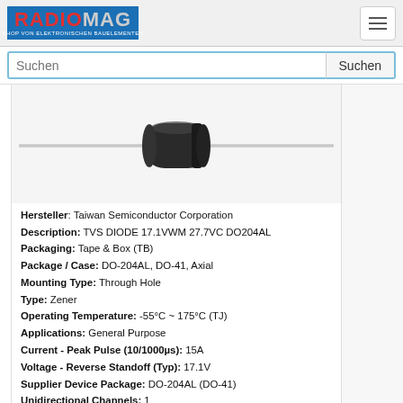RADIOMAG - SHOP VON ELEKTRONISCHEN BAUELEMENTEN
[Figure (photo): TVS diode component DO-204AL with axial leads, cylindrical black body with silver leads extending left and right]
Hersteller: Taiwan Semiconductor Corporation
Description: TVS DIODE 17.1VWM 27.7VC DO204AL
Packaging: Tape & Box (TB)
Package / Case: DO-204AL, DO-41, Axial
Mounting Type: Through Hole
Type: Zener
Operating Temperature: -55°C ~ 175°C (TJ)
Applications: General Purpose
Current - Peak Pulse (10/1000µs): 15A
Voltage - Reverse Standoff (Typ): 17.1V
Supplier Device Package: DO-204AL (DO-41)
Unidirectional Channels: 1
Voltage - Breakdown (Min): 19V